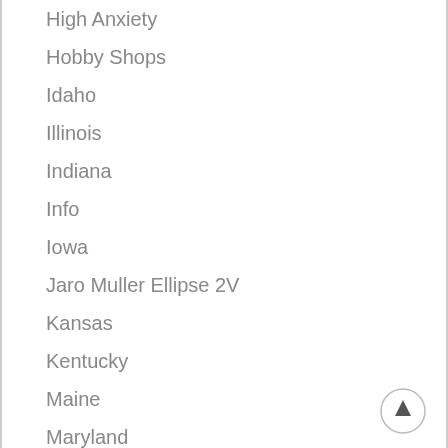High Anxiety
Hobby Shops
Idaho
Illinois
Indiana
Info
Iowa
Jaro Muller Ellipse 2V
Kansas
Kentucky
Maine
Maryland
Massachusetts
Michigan
Mini Acacia
Minnesota
Missouri
Montana
[Figure (other): Scroll to top button with upward arrow icon]